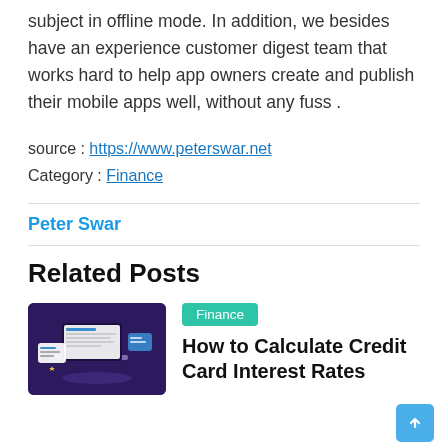subject in offline mode. In addition, we besides have an experience customer digest team that works hard to help app owners create and publish their mobile apps well, without any fuss .
source : https://www.peterswar.net
Category : Finance
Peter Swar
Related Posts
[Figure (illustration): Thumbnail image showing a laptop with financial documents and digital elements on a dark purple background]
Finance
How to Calculate Credit Card Interest Rates